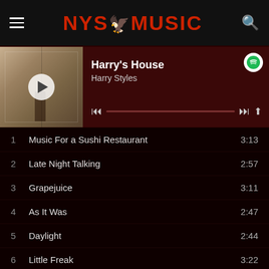NYS4MUSIC
[Figure (screenshot): Now playing card for Harry's House by Harry Styles with album art, play button, Spotify icon, and progress bar]
1  Music For a Sushi Restaurant  3:13
2  Late Night Talking  2:57
3  Grapejuice  3:11
4  As It Was  2:47
5  Daylight  2:44
6  Little Freak  3:22
7  Matilda  4:05
8  Cinema  4:03
9  Daydreaming  3:07
10  Keep Driving  2:20